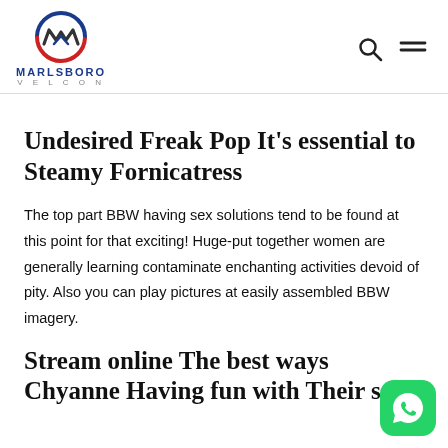MARLSBORO VELCON
Undesired Freak Pop It's essential to Steamy Fornicatress
The top part BBW having sex solutions tend to be found at this point for that exciting! Huge-put together women are generally learning contaminate enchanting activities devoid of pity. Also you can play pictures at easily assembled BBW imagery.
Stream online The best ways Chyanne Having fun with Their self